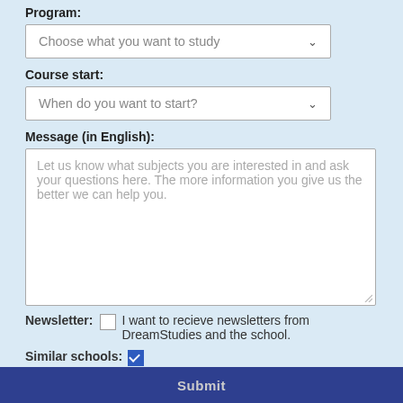Program:
[Figure (screenshot): Dropdown select box with placeholder text 'Choose what you want to study' and a down arrow]
Course start:
[Figure (screenshot): Dropdown select box with placeholder text 'When do you want to start?' and a down arrow]
Message (in English):
[Figure (screenshot): Large textarea with placeholder text 'Let us know what subjects you are interested in and ask your questions here. The more information you give us the better we can help you.']
Newsletter: [unchecked] I want to recieve newsletters from DreamStudies and the school.
Similar schools: [checked] Let other schools with similar programs in the same country contact me as well.
Submit